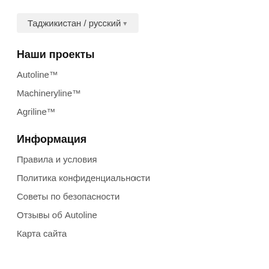Таджикистан / русский
Наши проекты
Autoline™
Machineryline™
Agriline™
Информация
Правила и условия
Политика конфиденциальности
Советы по безопасности
Отзывы об Autoline
Карта сайта